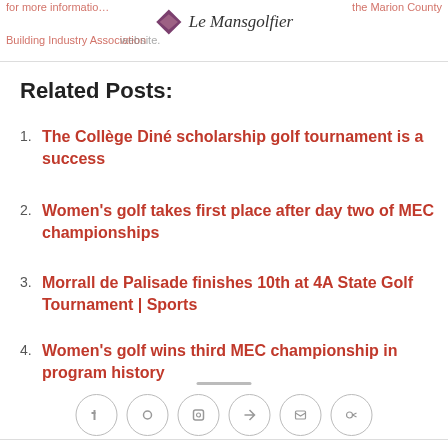Le Mansgolfier | for more information visit the Marion County Building Industry Association website.
Related Posts:
The Collège Diné scholarship golf tournament is a success
Women's golf takes first place after day two of MEC championships
Morrall de Palisade finishes 10th at 4A State Golf Tournament | Sports
Women's golf wins third MEC championship in program history